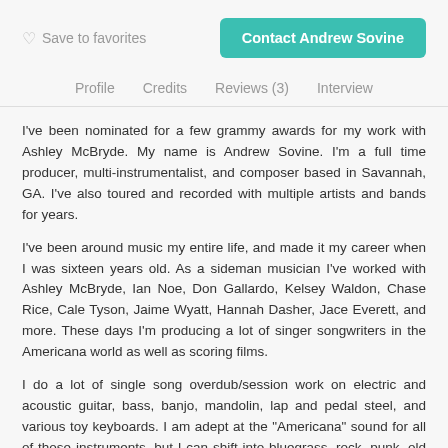Save to favorites | Contact Andrew Sovine
Profile  Credits  Reviews (3)  Interview
I've been nominated for a few grammy awards for my work with Ashley McBryde. My name is Andrew Sovine. I'm a full time producer, multi-instrumentalist, and composer based in Savannah, GA. I've also toured and recorded with multiple artists and bands for years.
I've been around music my entire life, and made it my career when I was sixteen years old. As a sideman musician I've worked with Ashley McBryde, Ian Noe, Don Gallardo, Kelsey Waldon, Chase Rice, Cale Tyson, Jaime Wyatt, Hannah Dasher, Jace Everett, and more. These days I'm producing a lot of singer songwriters in the Americana world as well as scoring films.
I do a lot of single song overdub/session work on electric and acoustic guitar, bass, banjo, mandolin, lap and pedal steel, and various toy keyboards. I am adept at the "Americana" sound for all of those instruments, but I can shift into bluegrass, rock, punk, old country, new country, rockabilly, chicken picking, blues, and even